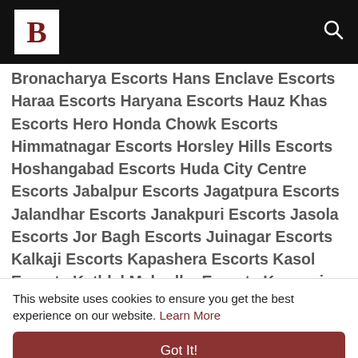B [logo] [search icon]
Bronacharya Escorts Hans Enclave Escorts Haraa Escorts Haryana Escorts Hauz Khas Escorts Hero Honda Chowk Escorts Himmatnagar Escorts Horsley Hills Escorts Hoshangabad Escorts Huda City Centre Escorts Jabalpur Escorts Jagatpura Escorts Jalandhar Escorts Janakpuri Escorts Jasola Escorts Jor Bagh Escorts Juinagar Escorts Kalkaji Escorts Kapashera Escorts Kasol Escorts Kathlal Mahudha Escorts Kausani Escorts Kendriya Vihar Escorts Keylong Escorts Khalilabad Escorts Kharghar Escorts Kirik Escorts Lansdowne Escorts Lavasa Escorts Limbdi Escorts Mahabaleshwar Escorts Maharashtra Escorts Mandi Escorts Mandwa Beach Escorts
This website uses cookies to ensure you get the best experience on our website. Learn More
Got It!